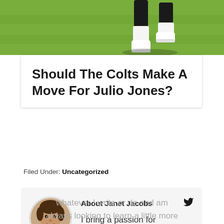[Figure (photo): Cropped photo of a football player's legs on a green field, wearing white cleats and socks]
Should The Colts Make A Move For Julio Jones?
Filed Under: Uncategorized
[Figure (photo): Circular headshot of Janet Jacobs, a woman with dark hair, smiling]
About Janet Jacobs
I bring a passion for whatever I write or do and am always looking to learn a little more